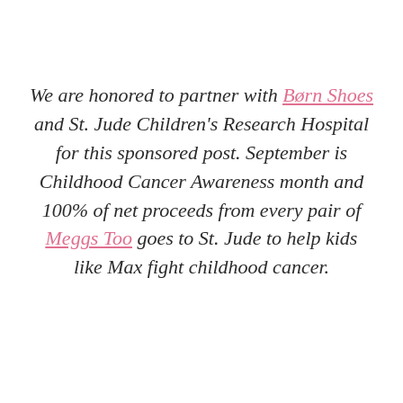We are honored to partner with Børn Shoes and St. Jude Children's Research Hospital for this sponsored post. September is Childhood Cancer Awareness month and 100% of net proceeds from every pair of Meggs Too goes to St. Jude to help kids like Max fight childhood cancer.